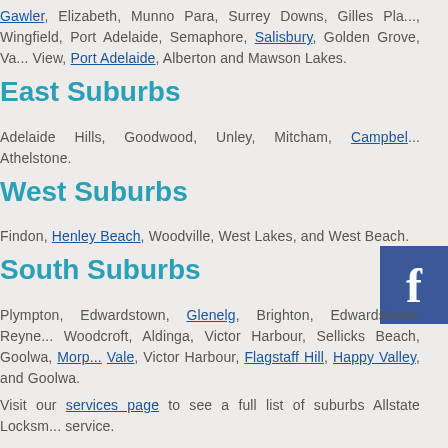Gawler, Elizabeth, Munno Para, Surrey Downs, Gilles Pla..., Wingfield, Port Adelaide, Semaphore, Salisbury, Golden Grove, Va... View, Port Adelaide, Alberton and Mawson Lakes.
East Suburbs
Adelaide Hills, Goodwood, Unley, Mitcham, Campbel... Athelstone.
West Suburbs
Findon, Henley Beach, Woodville, West Lakes, and West Beach.
South Suburbs
Plympton, Edwardstown, Glenelg, Brighton, Edwardstown, Reyne... Woodcroft, Aldinga, Victor Harbour, Sellicks Beach, Goolwa, Morp... Vale, Victor Harbour, Flagstaff Hill, Happy Valley, and Goolwa.
Visit our services page to see a full list of suburbs Allstate Locksm... service.